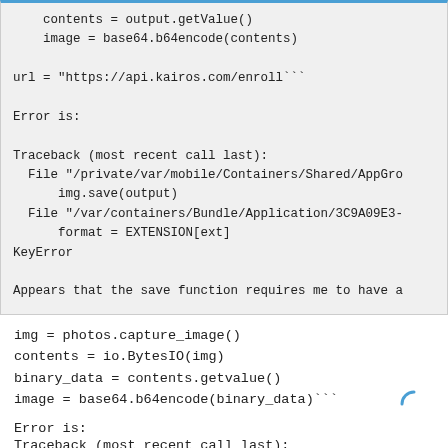contents = output.getValue()
    image = base64.b64encode(contents)

url = "https://api.kairos.com/enroll```

Error is:

Traceback (most recent call last):
  File "/private/var/mobile/Containers/Shared/AppGro
      img.save(output)
  File "/var/containers/Bundle/Application/3C9A09E3-
      format = EXTENSION[ext]
KeyError

Appears that the save function requires me to have a
img = photos.capture_image()
contents = io.BytesIO(img)
binary_data = contents.getvalue()
image = base64.b64encode(binary_data)```
Error is:
Traceback (most recent call last):